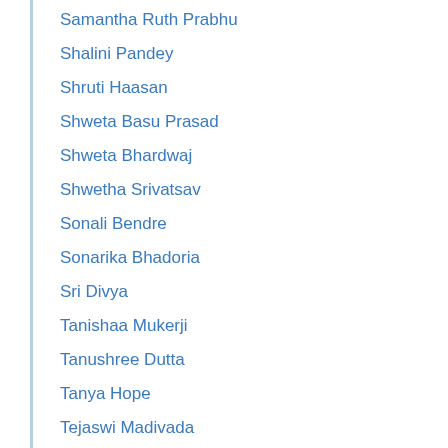Samantha Ruth Prabhu
Shalini Pandey
Shruti Haasan
Shweta Basu Prasad
Shweta Bhardwaj
Shwetha Srivatsav
Sonali Bendre
Sonarika Bhadoria
Sri Divya
Tanishaa Mukerji
Tanushree Dutta
Tanya Hope
Tejaswi Madivada
G.V. Prakash Kumar